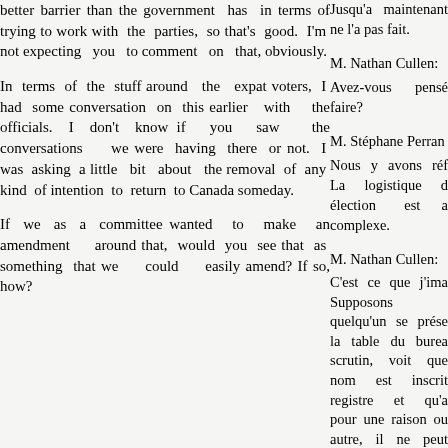better barrier than the government has in terms of trying to work with the parties, so that's good. I'm not expecting you to comment on that, obviously.
In terms of the stuff around the expat voters, I had some conversation on this earlier with the officials. I don't know if you saw the conversations we were having there or not. I was asking a little bit about the removal of any kind of intention to return to Canada someday.
If we as a committee wanted to make an amendment around that, would you see that as something that we could easily amend? If so, how?
Jusqu'a maintenant ne l'a pas fait.
M. Nathan Cullen:
Avez-vous pensé faire?
M. Stéphane Perran
Nous y avons réf La logistique d élection est a complexe.
M. Nathan Cullen:
C'est ce que j'ima Supposons quelqu'un se prése la table du burea scrutin, voit que nom est inscrit registre et qu'a pour une raison ou autre, il ne peut voter, serait-il si di pour les vérifica autour de la tabl noter sur un formu ou un fouillot qu'il